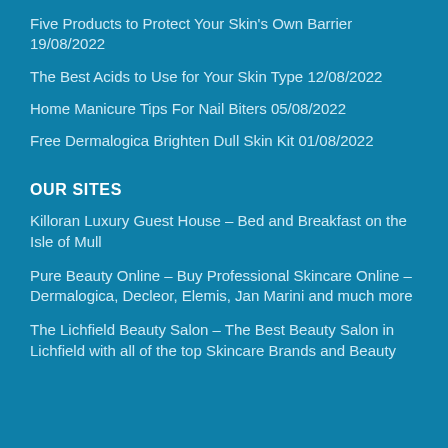Five Products to Protect Your Skin's Own Barrier 19/08/2022
The Best Acids to Use for Your Skin Type 12/08/2022
Home Manicure Tips For Nail Biters 05/08/2022
Free Dermalogica Brighten Dull Skin Kit 01/08/2022
OUR SITES
Killoran Luxury Guest House – Bed and Breakfast on the Isle of Mull
Pure Beauty Online – Buy Professional Skincare Online – Dermalogica, Decleor, Elemis, Jan Marini and much more
The Lichfield Beauty Salon – The Best Beauty Salon in Lichfield with all of the top Skincare Brands and Beauty